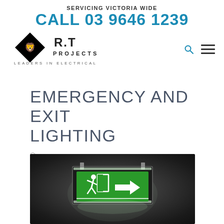SERVICING VICTORIA WIDE
CALL 03 9646 1239
[Figure (logo): R.T Projects - Leaders in Electrical logo with diamond shape and lion icon]
EMERGENCY AND EXIT LIGHTING
[Figure (photo): Emergency exit sign illuminated in green showing running figure and arrow pointing right, mounted on ceiling in dark room]